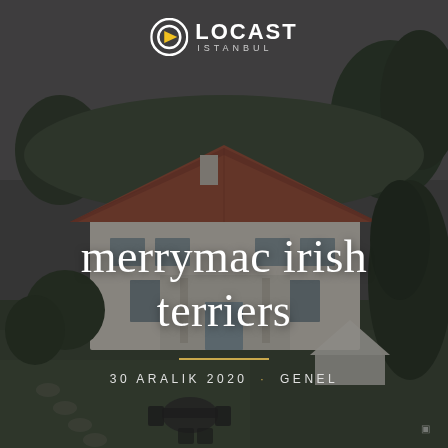[Figure (photo): Aerial/drone photograph of a large white villa with terracotta tile roof, surrounded by green trees and lawn. Garden furniture visible in lower center. Dark overcast sky.]
LOCAST ISTANBUL
merrymac irish terriers
30 ARALIK 2020 · GENEL